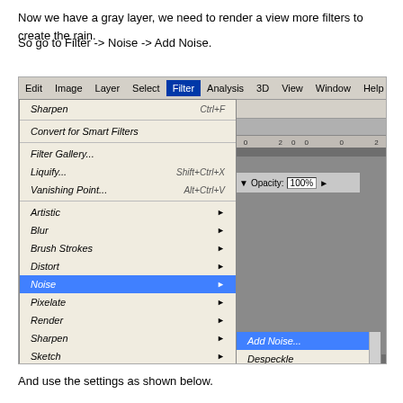Now we have a gray layer, we need to render a view more filters to create the rain.
So go to Filter -> Noise -> Add Noise.
[Figure (screenshot): Adobe Photoshop CS5 interface screenshot showing the Filter menu open with Noise submenu expanded, highlighting 'Add Noise...' option. The menu shows items: Sharpen (Ctrl+F), Convert for Smart Filters, Filter Gallery..., Liquify... (Shift+Ctrl+X), Vanishing Point... (Alt+Ctrl+V), Artistic, Blur, Brush Strokes, Distort, Noise (highlighted), Pixelate, Render, Sharpen, Sketch, Stylize. The Noise submenu shows: Add Noise... (highlighted), Despeckle, Dust & Scratches..., Median..., Reduce Noise...]
And use the settings as shown below.